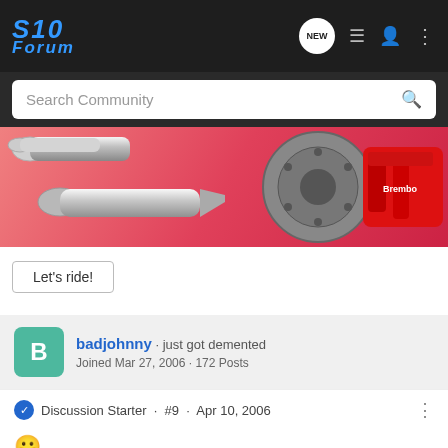[Figure (logo): S10 Forum logo in blue italic text on dark background]
Search Community
[Figure (photo): Automotive parts banner: chrome exhaust pipes on left, red Brembo brake caliper and rotor on right, pink/red gradient background]
Let's ride!
badjohnny · just got demented
Joined Mar 27, 2006 · 172 Posts
Discussion Starter · #9 · Apr 10, 2006